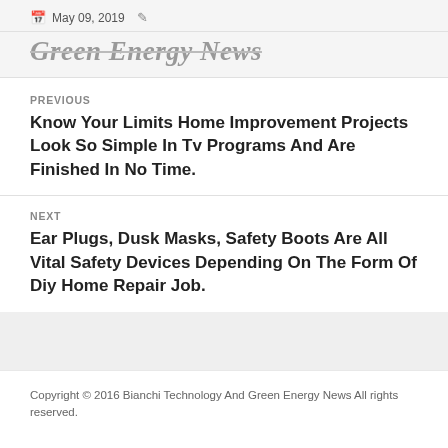May 09, 2019
Green Energy News
PREVIOUS
Know Your Limits Home Improvement Projects Look So Simple In Tv Programs And Are Finished In No Time.
NEXT
Ear Plugs, Dusk Masks, Safety Boots Are All Vital Safety Devices Depending On The Form Of Diy Home Repair Job.
Copyright © 2016 Bianchi Technology And Green Energy News All rights reserved.